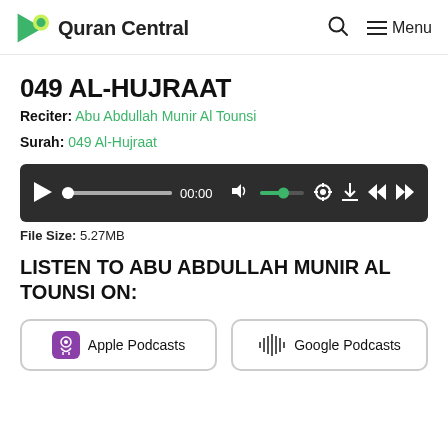Quran Central
049 AL-HUJRAAT
Reciter: Abu Abdullah Munir Al Tounsi
Surah: 049 Al-Hujraat
[Figure (other): Audio player bar with play button, progress bar at 00:00, volume control, settings, download, skip back and skip forward controls]
File Size: 5.27MB
LISTEN TO ABU ABDULLAH MUNIR AL TOUNSI ON:
Apple Podcasts
Google Podcasts